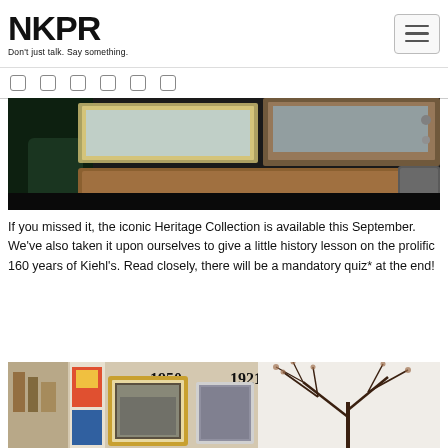NKPR — Don't just talk. Say something.
[Figure (photo): Social media icon navigation bar with 6 small square icons]
[Figure (photo): Close-up photo of screen printing process with wooden frames and squeegee on dark fabric]
If you missed it, the iconic Heritage Collection is available this September. We've also taken it upon ourselves to give a little history lesson on the prolific 160 years of Kiehl's. Read closely, there will be a mandatory quiz* at the end!
[Figure (photo): Interior wall display showing historical Kiehl's photos and memorabilia with years 1950 and 1921 marked, and a decorative tree illustration on the right]